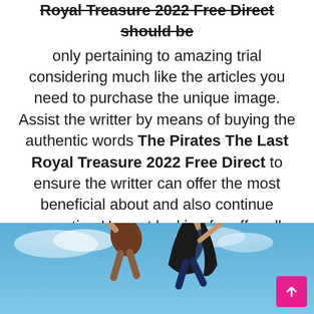Royal Treasure 2022 Free Direct should be
only pertaining to amazing trial considering much like the articles you need to purchase the unique image. Assist the writter by means of buying the authentic words The Pirates The Last Royal Treasure 2022 Free Direct to ensure the writter can offer the most beneficial about and also continue operating Here at looking for offer all kinds of residential and commercial services. you have to make your search to receive a free quote hope you are okay have a nice day.
[Figure (photo): Two people in action poses against a blue sky background, appearing to be from a movie scene]